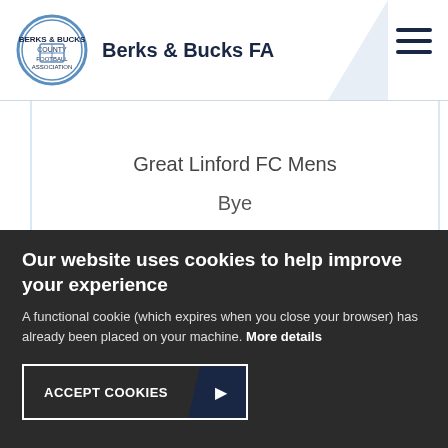Berks & Bucks FA
Great Linford FC Mens
Bye
Haddenham United First
Bye
Our website uses cookies to help improve your experience
A functional cookie (which expires when you close your browser) has already been placed on your machine. More details
ACCEPT COOKIES